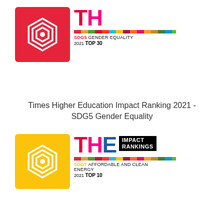[Figure (logo): THE Impact Rankings SDG5 Gender Equality 2021 Top 30 badge with red/orange SDG icon and colorful THE logo]
Times Higher Education Impact Ranking 2021 - SDG5 Gender Equality
[Figure (logo): THE Impact Rankings SDG7 Affordable and Clean Energy 2021 Top 10 badge with yellow SDG icon and colorful THE logo]